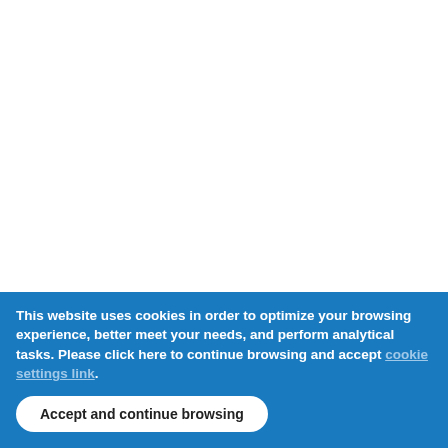[Figure (screenshot): Webpage screenshot showing a white left column, a blue-gray center column, and a right sidebar with vertical text reading 'e-rdynamic' in the top cell and 'objs/x64Linu' in the bottom cell]
This website uses cookies in order to optimize your browsing experience, better meet your needs, and perform analytical tasks. Please click here to continue browsing and accept [cookie settings link].
Accept and continue browsing